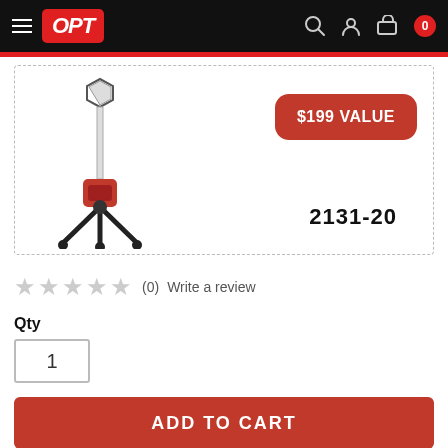OPT
[Figure (photo): Milwaukee M18 cordless tower light 2131-20 on tripod stand, with $199 VALUE badge displayed in red rounded rectangle]
2131-20
★★★★★ (0)  Write a review
Qty
1
ADD TO CART